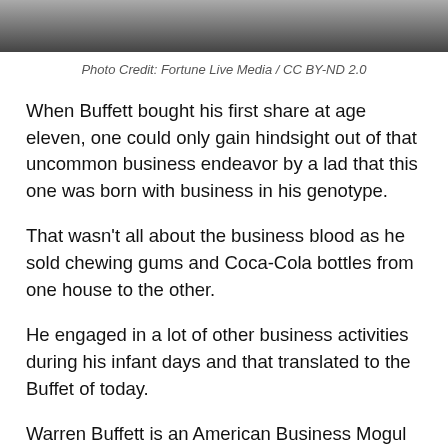[Figure (photo): Cropped photo of Warren Buffett at an event, partial view showing upper body]
Photo Credit: Fortune Live Media / CC BY-ND 2.0
When Buffett bought his first share at age eleven, one could only gain hindsight out of that uncommon business endeavor by a lad that this one was born with business in his genotype.
That wasn't all about the business blood as he sold chewing gums and Coca-Cola bottles from one house to the other.
He engaged in a lot of other business activities during his infant days and that translated to the Buffet of today.
Warren Buffett is an American Business Mogul and is the